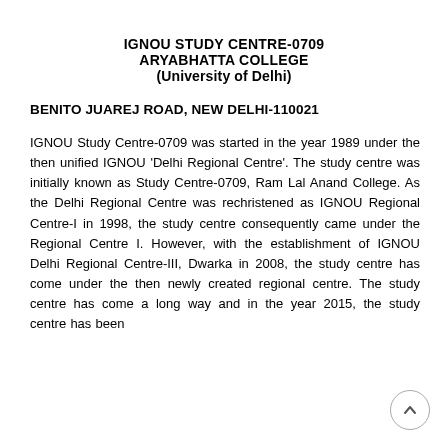IGNOU STUDY CENTRE-0709
ARYABHATTA COLLEGE
(University of Delhi)
BENITO JUAREJ ROAD, NEW DELHI-110021
IGNOU Study Centre-0709 was started in the year 1989 under the then unified IGNOU 'Delhi Regional Centre'. The study centre was initially known as Study Centre-0709, Ram Lal Anand College. As the Delhi Regional Centre was rechristened as IGNOU Regional Centre-I in 1998, the study centre consequently came under the Regional Centre I. However, with the establishment of IGNOU Delhi Regional Centre-III, Dwarka in 2008, the study centre has come under the then newly created regional centre. The study centre has come a long way and in the year 2015, the study centre has been